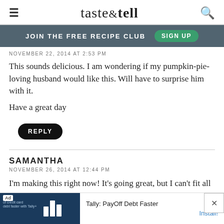taste & tell
JOIN THE FREE RECIPE CLUB  SIGN UP
NOVEMBER 22, 2014 AT 2:53 PM
This sounds delicious. I am wondering if my pumpkin-pie-loving husband would like this. Will have to surprise him with it.
Have a great day
REPLY
SAMANTHA
NOVEMBER 26, 2014 AT 12:44 PM
I'm making this right now! It's going great, but I can't fit all of the pumpkin filling in, does this happen to you? I followed everything ... the mixture...
Ad  Tally: PayOff Debt Faster  Install!